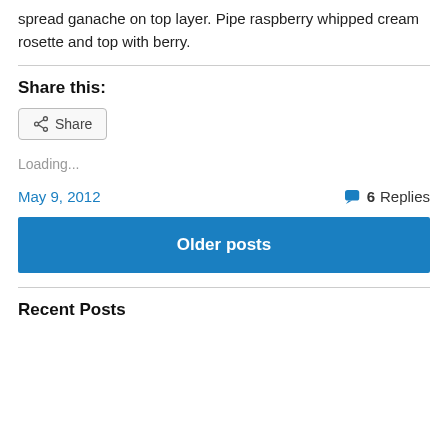spread ganache on top layer. Pipe raspberry whipped cream rosette and top with berry.
Share this:
[Figure (other): Share button with share icon]
Loading...
May 9, 2012   6 Replies
Older posts
Recent Posts